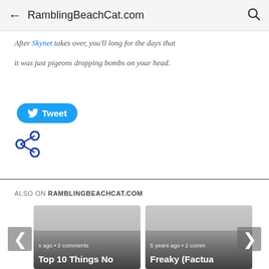RamblingBeachCat.com
After Skynet takes over, you'll long for the days that it was just pigeons dropping bombs on your head.
[Figure (other): Tweet button (blue rounded rectangle with Twitter bird icon and 'Tweet' text)]
[Figure (other): Share icon (three connected circles forming share symbol)]
ALSO ON RAMBLINGBEACHCAT.COM
[Figure (other): Card: '...s ago • 2 comments' / 'Top 10 Things No']
[Figure (other): Card: '5 years ago • 2 comm...' / 'Freaky (Factua']